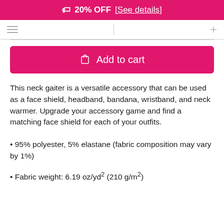🏷 20% OFF [See details]
[Figure (other): Navigation bar with menu icon, vertical divider, and plus icon]
This neck gaiter is a versatile accessory that can be used as a face shield, headband, bandana, wristband, and neck warmer. Upgrade your accessory game and find a matching face shield for each of your outfits.
• 95% polyester, 5% elastane (fabric composition may vary by 1%)
• Fabric weight: 6.19 oz/yd² (210 g/m²)